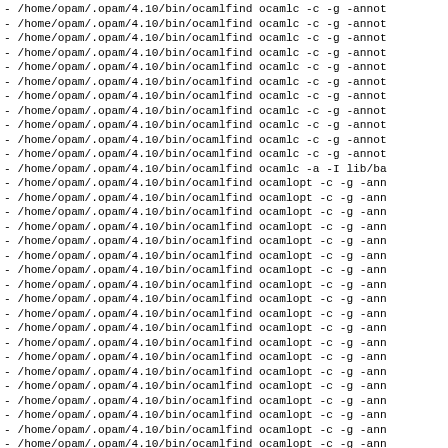- /home/opam/.opam/4.10/bin/ocamlfind ocamlc -c -g -annot ...
(repeated lines with ocamlc and ocamlopt commands)